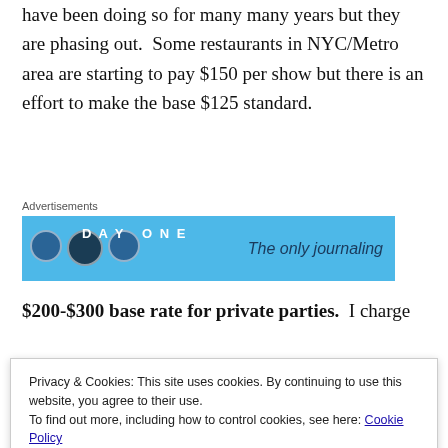have been doing so for many many years but they are phasing out.  Some restaurants in NYC/Metro area are starting to pay $150 per show but there is an effort to make the base $125 standard.
[Figure (screenshot): Advertisement banner for 'DAY ONE' app with blue background and text 'The only journaling']
$200-$300 base rate for private parties.  I charge $250 for bookings in certain venues, but I
Privacy & Cookies: This site uses cookies. By continuing to use this website, you agree to their use.
To find out more, including how to control cookies, see here: Cookie Policy
for a well... and here To find from what if